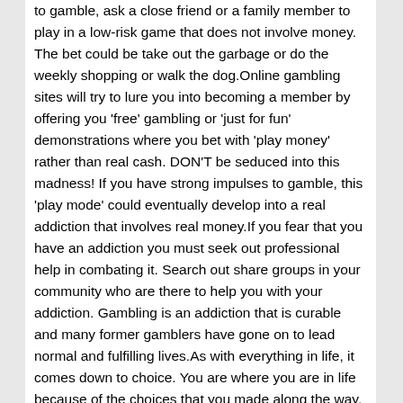to gamble, ask a close friend or a family member to play in a low-risk game that does not involve money. The bet could be take out the garbage or do the weekly shopping or walk the dog.Online gambling sites will try to lure you into becoming a member by offering you 'free' gambling or 'just for fun' demonstrations where you bet with 'play money' rather than real cash. DON'T be seduced into this madness! If you have strong impulses to gamble, this 'play mode' could eventually develop into a real addiction that involves real money.If you fear that you have an addiction you must seek out professional help in combating it. Search out share groups in your community who are there to help you with your addiction. Gambling is an addiction that is curable and many former gamblers have gone on to lead normal and fulfilling lives.As with everything in life, it comes down to choice. You are where you are in life because of the choices that you made along the way. Each choice that you made led you along a certain path that has resulted in the position you find yourself in today.No one can force you to gamble. Gambling is your choice. You don't have to gamble to have a good time. You can choose NOT to gamble.